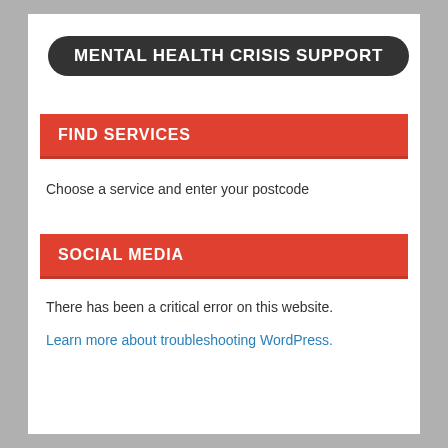MENTAL HEALTH CRISIS SUPPORT
FIND SERVICES
Choose a service and enter your postcode
SOCIAL MEDIA
There has been a critical error on this website.
Learn more about troubleshooting WordPress.